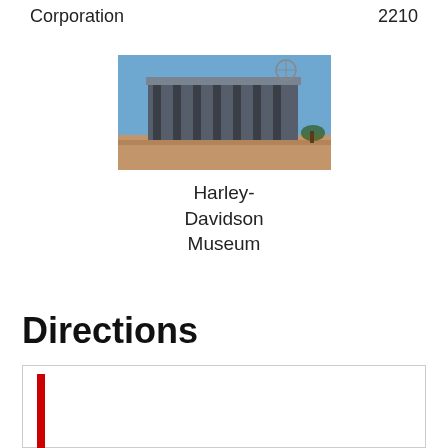Corporation
2210
[Figure (photo): Photo of Harley-Davidson Museum building exterior with large industrial structure]
Harley-Davidson Museum
Directions
[Figure (map): Map area with red vertical bar indicator at left edge]